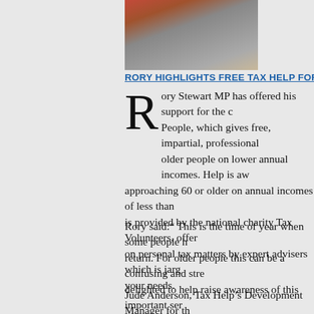[Figure (photo): Group photo of people, partially visible at top of page]
RORY HIGHLIGHTS FREE TAX HELP FOR OLDER PEOPLE
Rory Stewart MP has offered his support for the charity Tax Help for Older People, which gives free, impartial, professional tax advice to older people on lower annual incomes. Help is available to anyone approaching 60 or older on annual incomes of less than... is provided by the national charity Tax Volunteers, offering... on personal tax matters by expert advisers which is jarg... your needs.
Rory said: “ This is the time of year when some people h... return. For older people this can be a confusing and stre... delighted to help raise awareness of this important ser... impartial advice in plain English to older people who re... affairs.”
Jude Anderson, Tax Help's Development Manager for the... become more, not less complicated after retirem...